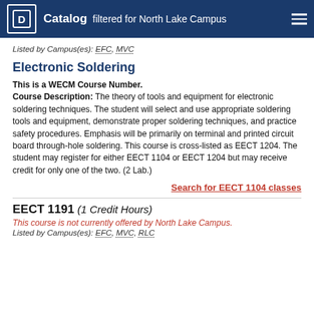Catalog filtered for North Lake Campus
Listed by Campus(es): EFC, MVC
Electronic Soldering
This is a WECM Course Number. Course Description: The theory of tools and equipment for electronic soldering techniques. The student will select and use appropriate soldering tools and equipment, demonstrate proper soldering techniques, and practice safety procedures. Emphasis will be primarily on terminal and printed circuit board through-hole soldering. This course is cross-listed as EECT 1204. The student may register for either EECT 1104 or EECT 1204 but may receive credit for only one of the two. (2 Lab.)
Search for EECT 1104 classes
EECT 1191 (1 Credit Hours)
This course is not currently offered by North Lake Campus.
Listed by Campus(es): EFC, MVC, RLC